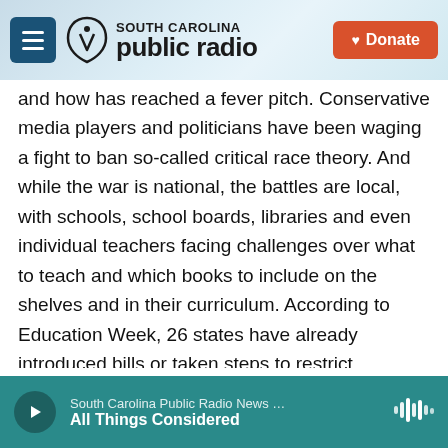[Figure (screenshot): South Carolina Public Radio website header with hamburger menu icon, SC Public Radio logo, and orange Donate button]
and how has reached a fever pitch. Conservative media players and politicians have been waging a fight to ban so-called critical race theory. And while the war is national, the battles are local, with schools, school boards, libraries and even individual teachers facing challenges over what to teach and which books to include on the shelves and in their curriculum. According to Education Week, 26 states have already introduced bills or taken steps to restrict teaching, quote, unquote, "critical race theory" or limit how teachers can talk about racism and sexism.
[Figure (screenshot): Audio player bar showing South Carolina Public Radio News - All Things Considered with play button and waveform icon]